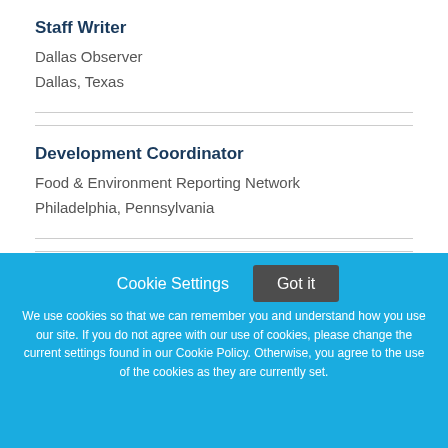Staff Writer
Dallas Observer
Dallas, Texas
Development Coordinator
Food & Environment Reporting Network
Philadelphia, Pennsylvania
Cookie Settings
Got it
We use cookies so that we can remember you and understand how you use our site. If you do not agree with our use of cookies, please change the current settings found in our Cookie Policy. Otherwise, you agree to the use of the cookies as they are currently set.